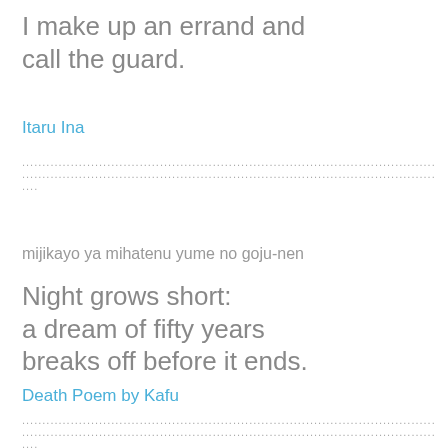I make up an errand and
call the guard.
Itaru Ina
mijikayo ya mihatenu yume no goju-nen
Night grows short:
a dream of fifty years
breaks off before it ends.
Death Poem by Kafu